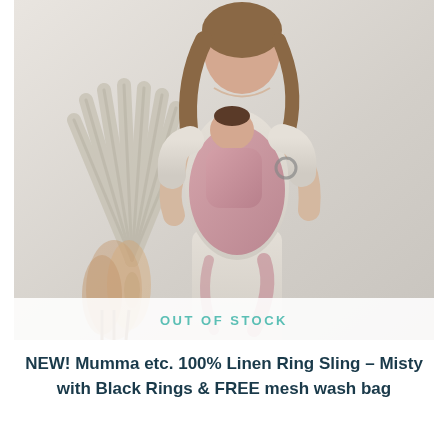[Figure (photo): A woman wearing a light beige/cream short-sleeve dress holding a baby wrapped in a dusty pink/mauve ring sling. The woman is smiling downward at the baby. In the background there is a large decorative dried palm leaf fan and dried pampas grass in a vase, against a white/light grey wall. An 'OUT OF STOCK' banner overlay appears at the bottom of the image.]
NEW! Mumma etc. 100% Linen Ring Sling – Misty with Black Rings & FREE mesh wash bag